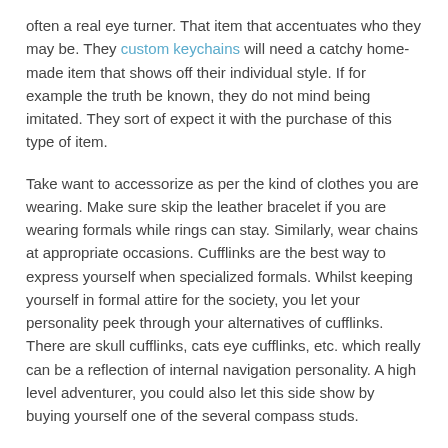often a real eye turner. That item that accentuates who they may be. They custom keychains will need a catchy home-made item that shows off their individual style. If for example the truth be known, they do not mind being imitated. They sort of expect it with the purchase of this type of item.
Take want to accessorize as per the kind of clothes you are wearing. Make sure skip the leather bracelet if you are wearing formals while rings can stay. Similarly, wear chains at appropriate occasions. Cufflinks are the best way to express yourself when specialized formals. Whilst keeping yourself in formal attire for the society, you let your personality peek through your alternatives of cufflinks. There are skull cufflinks, cats eye cufflinks, etc. which really can be a reflection of internal navigation personality. A high level adventurer, you could also let this side show by buying yourself one of the several compass studs.
What if the guys are sporting devotees? There's a key chain to cater to almost every sport. A Multi-Function Golf Key Ring will